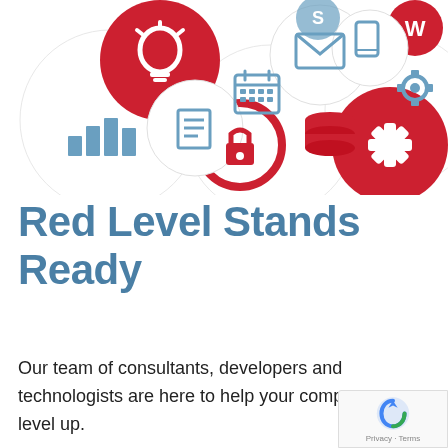[Figure (illustration): A cluster of overlapping circles (white and red) each containing technology-related icons: light bulb, bar chart, calendar, lock, document, email envelope, database stack, phone/tablet, settings gear, cross/tools, and Microsoft Office icon — all in red and steel-blue colors on white background.]
Red Level Stands Ready
Our team of consultants, developers and technologists are here to help your comp level up.